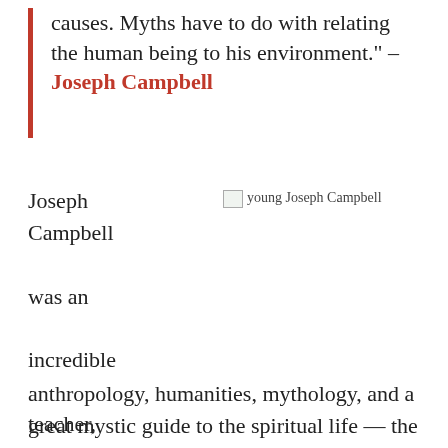causes. Myths have to do with relating the human being to his environment." – Joseph Campbell
[Figure (photo): Image of young Joseph Campbell with alt text 'young Joseph Campbell']
Joseph Campbell was an incredible teacher, of anthropology, humanities, mythology, and a great mystic guide to the spiritual life — the life of purpose, courage, discipline, sacrifice, legacy, and fulfillment